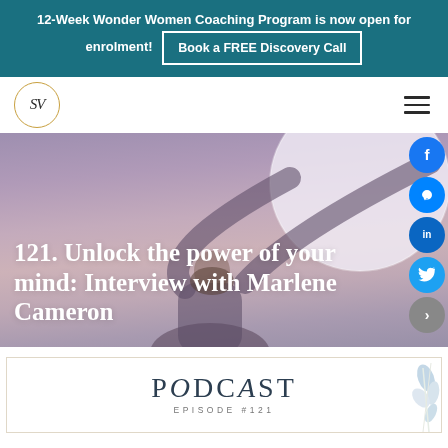12-Week Wonder Women Coaching Program is now open for enrolment! Book a FREE Discovery Call
[Figure (logo): SV initials in circle logo with gold border]
121. Unlock the power of your mind: Interview with Marlene Cameron
[Figure (photo): Woman with arms raised holding a large glowing orb/moon, hero image with purple/mauve tones]
[Figure (infographic): Podcast Episode #121 title card with floral decoration]